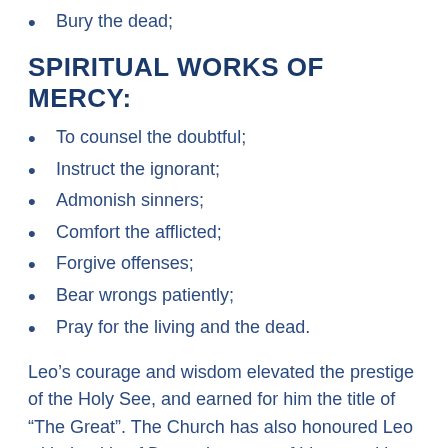Bury the dead;
SPIRITUAL WORKS OF MERCY:
To counsel the doubtful;
Instruct the ignorant;
Admonish sinners;
Comfort the afflicted;
Forgive offenses;
Bear wrongs patiently;
Pray for the living and the dead.
Leo’s courage and wisdom elevated the prestige of the Holy See, and earned for him the title of "The Great". The Church has also honoured Leo with the title of Doctor because of his expositions of Christian doctrine.
Pope Leo I was a resolute champion of the faith